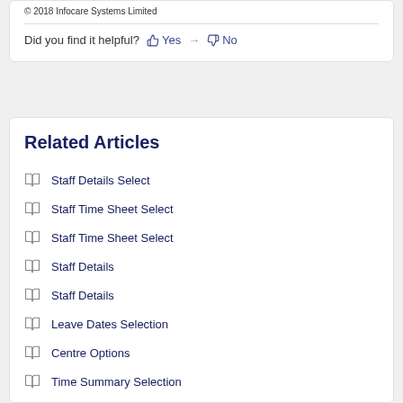© 2018 Infocare Systems Limited
Did you find it helpful? Yes No
Related Articles
Staff Details Select
Staff Time Sheet Select
Staff Time Sheet Select
Staff Details
Staff Details
Leave Dates Selection
Centre Options
Time Summary Selection